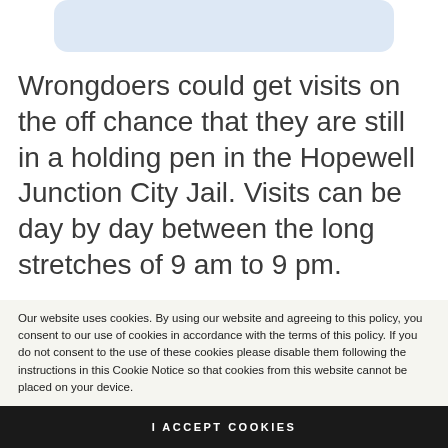[Figure (other): Light blue rounded rectangle box at top of page, partially visible]
Wrongdoers could get visits on the off chance that they are still in a holding pen in the Hopewell Junction City Jail. Visits can be day by day between the long stretches of 9 am to 9 pm.
You ought to consistently call the
Our website uses cookies. By using our website and agreeing to this policy, you consent to our use of cookies in accordance with the terms of this policy. If you do not consent to the use of these cookies please disable them following the instructions in this Cookie Notice so that cookies from this website cannot be placed on your device.
I ACCEPT COOKIES